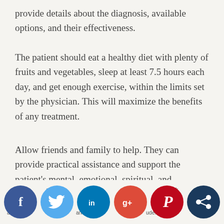provide details about the diagnosis, available options, and their effectiveness.
The patient should eat a healthy diet with plenty of fruits and vegetables, sleep at least 7.5 hours each day, and get enough exercise, within the limits set by the physician. This will maximize the benefits of any treatment.
Allow friends and family to help. They can provide practical assistance and support the patient's mental, emotional, spiritual, and, ultimately, physical health.
Prevention and life expectancy
[Figure (other): Social media sharing buttons: Facebook, Twitter, LinkedIn, Google+, Pinterest, and a share icon. Partially visible text fragments behind the icons related to risk factors and cancers.]